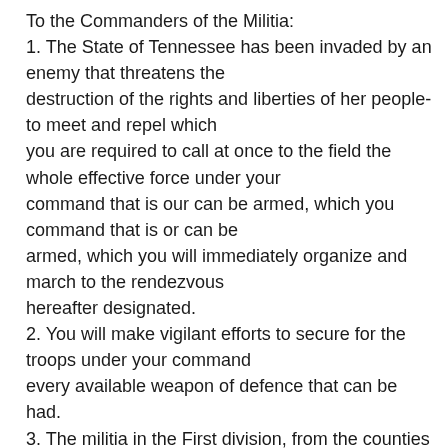To the Commanders of the Militia:
1. The State of Tennessee has been invaded by an enemy that threatens the destruction of the rights and liberties of her people-to meet and repel which you are required to call at once to the field the whole effective force under your command that is our can be armed, which you command that is or can be armed, which you will immediately organize and march to the rendezvous hereafter designated.
2. You will make vigilant efforts to secure for the troops under your command every available weapon of defence that can be had.
3. The militia in the First division, from the counties above and adjoining Knox County, will rendezvous at the city of Knoxville. The militia from the counties